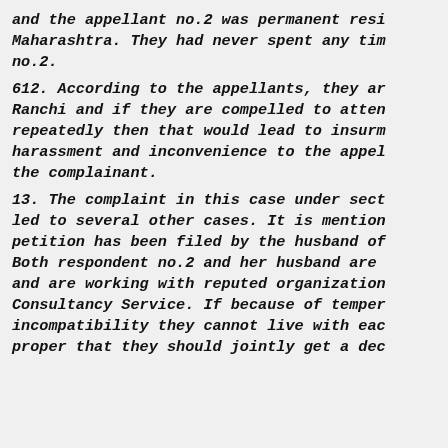and the appellant no.2 was permanent resi Maharashtra. They had never spent any tim no.2.
612. According to the appellants, they ar Ranchi and if they are compelled to atten repeatedly then that would lead to insurm harassment and inconvenience to the appel the complainant.
13. The complaint in this case under sect led to several other cases. It is mention petition has been filed by the husband of Both respondent no.2 and her husband are and are working with reputed organization Consultancy Service. If because of temper incompatibility they cannot live with eac proper that they should jointly get a dec